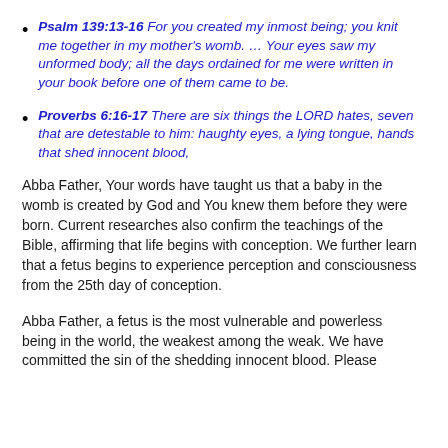Psalm 139:13-16 For you created my inmost being; you knit me together in my mother's womb. ... Your eyes saw my unformed body; all the days ordained for me were written in your book before one of them came to be.
Proverbs 6:16-17 There are six things the LORD hates, seven that are detestable to him: haughty eyes, a lying tongue, hands that shed innocent blood,
Abba Father, Your words have taught us that a baby in the womb is created by God and You knew them before they were born. Current researches also confirm the teachings of the Bible, affirming that life begins with conception. We further learn that a fetus begins to experience perception and consciousness from the 25th day of conception.
Abba Father, a fetus is the most vulnerable and powerless being in the world, the weakest among the weak. We have committed the sin of the shedding innocent blood. Please